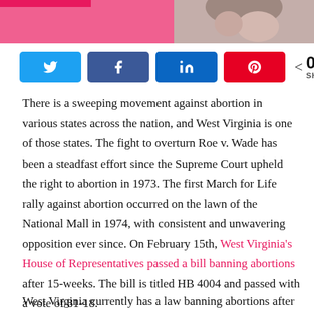[Figure (photo): Partial image showing a pink/red banner on the left and a close-up of a person's face on the right]
N Share buttons with 0 SHARES
There is a sweeping movement against abortion in various states across the nation, and West Virginia is one of those states. The fight to overturn Roe v. Wade has been a steadfast effort since the Supreme Court upheld the right to abortion in 1973. The first March for Life rally against abortion occurred on the lawn of the National Mall in 1974, with consistent and unwavering opposition ever since. On February 15th, West Virginia's House of Representatives passed a bill banning abortions after 15-weeks. The bill is titled HB 4004 and passed with a vote of 81-18.
West Virginia currently has a law banning abortions after 20